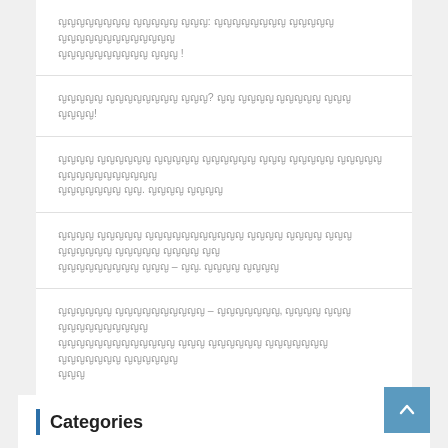ญญญญญญญญ ญญญญญ ญญญ: ญญญญญญญญ ญญญญญ ญญญญญญญญญญญญญ ญญญญญญญญญญ ญญญ !
ญญญญญ ญญญญญญญญ ญญญ? ญญ ญญญญ ญญญญญ ญญญ ญญญญ!
ญญญญ ญญญญญญ ญญญญญ ญญญญญญ ญญญ ญญญญญ ญญญญญ ญญญญญญญญญญญ ญญญญญญญ ญญ. ญญญญ ญญญญ
ญญญญ ญญญญญ ญญญญญญญญญญญ ญญญญ ญญญญ ญญญ ญญญญญญ ญญญญญ ญญญญ ญญ ญญญญญญญญญ ญญญ – ญญ. ญญญญ ญญญญ
ญญญญญญ ญญญญญญญญญญ – ญญญญญญญ, ญญญญ ญญญ ญญญญญญญญญญ ญญญญญญญญญญญญญ ญญญ ญญญญญญ ญญญญญญญ ญญญญญญญญญ ญญญญญญ ญญญ
Categories
Advertising & Marketing
Business & Entrepreneurs